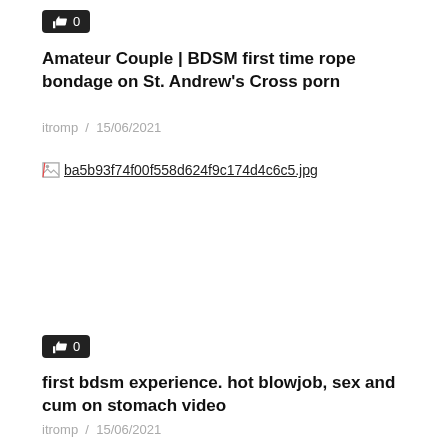[Figure (other): Like button with thumbs up icon and count 0, dark background]
Amateur Couple | BDSM first time rope bondage on St. Andrew's Cross porn
itromp  /  15/06/2021
[Figure (other): Broken image placeholder showing filename: ba5b93f74f00f558d624f9c174d4c6c5.jpg]
[Figure (other): Like button with thumbs up icon and count 0, dark background]
first bdsm experience. hot blowjob, sex and cum on stomach video
itromp  /  15/06/2021